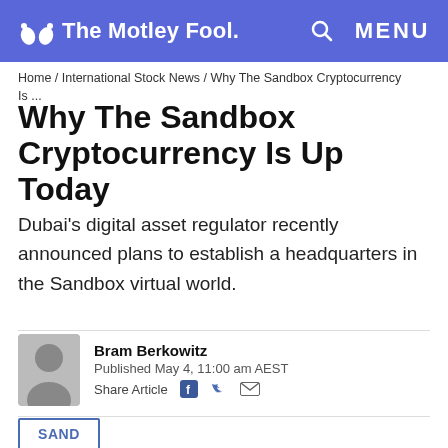The Motley Fool — MENU
Home / International Stock News / Why The Sandbox Cryptocurrency Is ...
Why The Sandbox Cryptocurrency Is Up Today
Dubai's digital asset regulator recently announced plans to establish a headquarters in the Sandbox virtual world.
Bram Berkowitz
Published May 4, 11:00 am AEST
Share Article
SAND